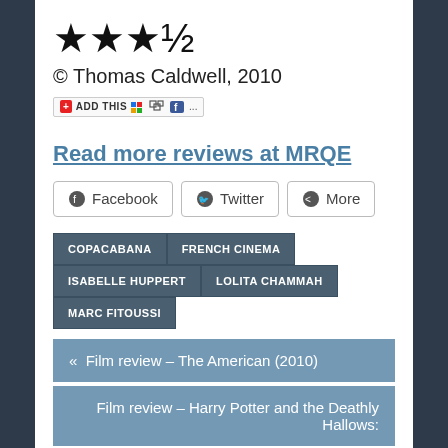[Figure (other): Star rating showing 3.5 out of 5 stars (three full stars and one half star)]
© Thomas Caldwell, 2010
[Figure (other): AddThis social sharing widget bar with icons for various social networks]
Read more reviews at MRQE
[Figure (other): Share buttons row: Facebook, Twitter, More]
COPACABANA
FRENCH CINEMA
ISABELLE HUPPERT
LOLITA CHAMMAH
MARC FITOUSSI
« Film review – The American (2010)
Film review – Harry Potter and the Deathly Hallows: